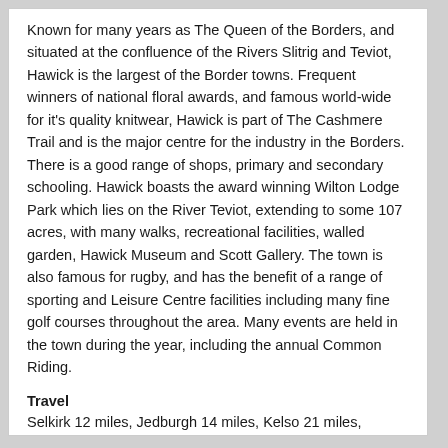Known for many years as The Queen of the Borders, and situated at the confluence of the Rivers Slitrig and Teviot, Hawick is the largest of the Border towns. Frequent winners of national floral awards, and famous world-wide for it's quality knitwear, Hawick is part of The Cashmere Trail and is the major centre for the industry in the Borders. There is a good range of shops, primary and secondary schooling. Hawick boasts the award winning Wilton Lodge Park which lies on the River Teviot, extending to some 107 acres, with many walks, recreational facilities, walled garden, Hawick Museum and Scott Gallery. The town is also famous for rugby, and has the benefit of a range of sporting and Leisure Centre facilities including many fine golf courses throughout the area. Many events are held in the town during the year, including the annual Common Riding.
Travel
Selkirk 12 miles, Jedburgh 14 miles, Kelso 21 miles, Galashiels 18 miles, Melrose 19 miles, Newtown St Boswells 19 miles, Carlisle 44 miles, Edinburgh 55 miles, Newcastle 60 miles